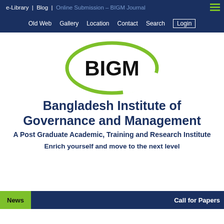e-Library | Blog | Online Submission – BIGM Journal
Old Web  Gallery  Location  Contact  Search  Login
[Figure (logo): BIGM logo: bold black text 'BIGM' encircled by a green oval swoosh on white background]
Bangladesh Institute of Governance and Management
A Post Graduate Academic, Training and Research Institute
Enrich yourself and move to the next level
News   Call for Papers